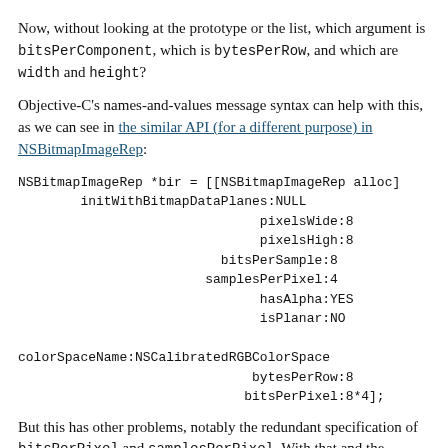Now, without looking at the prototype or the list, which argument is bitsPerComponent, which is bytesPerRow, and which are width and height?
Objective-C's names-and-values message syntax can help with this, as we can see in the similar API (for a different purpose) in NSBitmapImageRep:
NSBitmapImageRep *bir = [[NSBitmapImageRep alloc]
        initWithBitmapDataPlanes:NULL
                               pixelsWide:8
                               pixelsHigh:8
                          bitsPerSample:8
                        samplesPerPixel:4
                               hasAlpha:YES
                               isPlanar:NO

colorSpaceName:NSCalibratedRGBColorSpace
                              bytesPerRow:8
                             bitsPerPixel:8*4];
But this has other problems, notably the redundant specification of bitsPerPixel and samplesPerPixel. With that and the isPlanar argument, this method takes even more arguments...